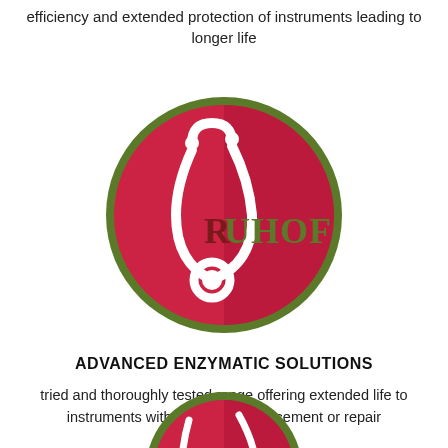efficiency and extended protection of instruments leading to longer life
[Figure (logo): RUHOF circular logo with stethoscope and brand name on red background with green border]
ADVANCED ENZYMATIC SOLUTIONS
tried and thoroughly tested range offering extended life to instruments with reduceing replacement or repair
[Figure (logo): Partial RUHOF circular logo visible at bottom of page]